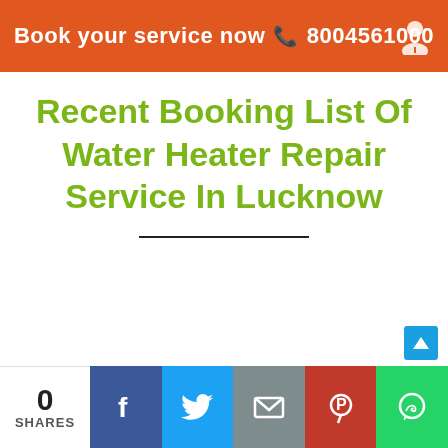Book your service now ☎ 8004561000
Recent Booking List Of Water Heater Repair Service In Lucknow
0 SHARES | Facebook | Twitter | Email | Pinterest | WhatsApp